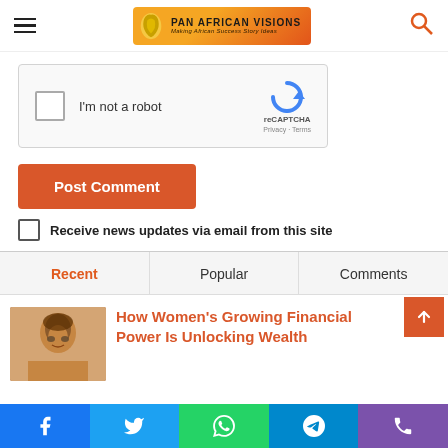Pan African Visions - Making African Success Story Ideas
[Figure (screenshot): reCAPTCHA checkbox widget with 'I'm not a robot' label and reCAPTCHA logo]
Post Comment
Receive news updates via email from this site
Recent | Popular | Comments
How Women's Growing Financial Power Is Unlocking Wealth
[Figure (photo): Thumbnail photo of a smiling woman with glasses]
Social share bar: Facebook, Twitter, WhatsApp, Telegram, Phone